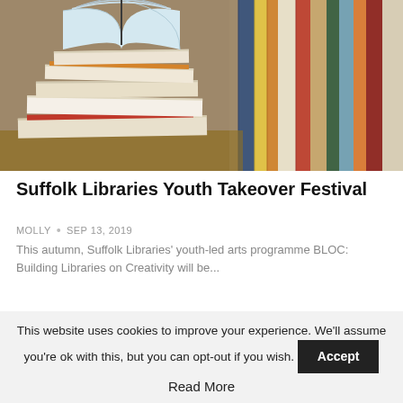[Figure (photo): Stack of open and closed books on a table with a bookshelf of colorful books in the background]
Suffolk Libraries Youth Takeover Festival
MOLLY • Sep 13, 2019
This autumn, Suffolk Libraries' youth-led arts programme BLOC: Building Libraries on Creativity will be...
[Figure (photo): Partial view of a second article image showing people]
This website uses cookies to improve your experience. We'll assume you're ok with this, but you can opt-out if you wish.
Accept
Read More